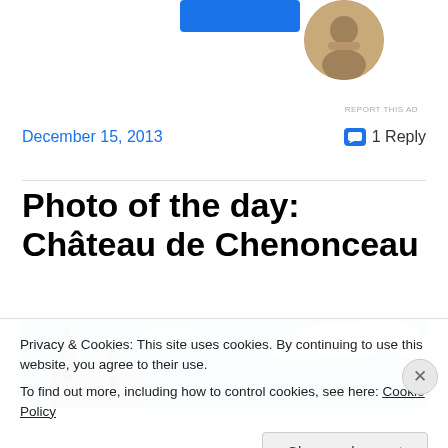[Figure (photo): Ad area with blue button and circular profile photo of a person]
REPORT THIS AD
December 15, 2013
1 Reply
Photo of the day: Château de Chenonceau
[Figure (photo): Partial photo of Château de Chenonceau showing castle towers against a blue sky with clouds]
Privacy & Cookies: This site uses cookies. By continuing to use this website, you agree to their use.
To find out more, including how to control cookies, see here: Cookie Policy
Close and accept